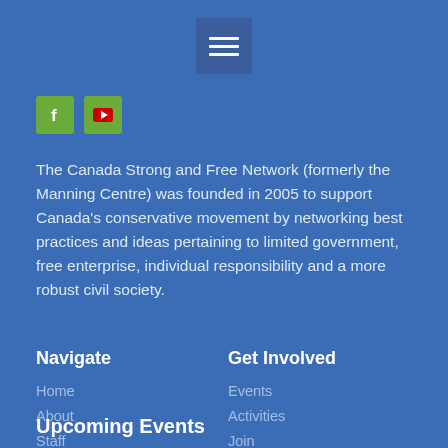[Figure (other): Hamburger menu icon (three horizontal white lines) on a blue square background, centered at top of page]
[Figure (other): Two social media icon buttons: a green Facebook 'f' icon and a green YouTube play button icon]
The Canada Strong and Free Network (formerly the Manning Centre) was founded in 2005 to support Canada's conservative movement by networking best practices and ideas pertaining to limited government, free enterprise, individual responsibility and a more robust civil society.
Navigate
Get Involved
Home
About
Staff
Board
Events
Activities
Join
Contact
Upcoming Events